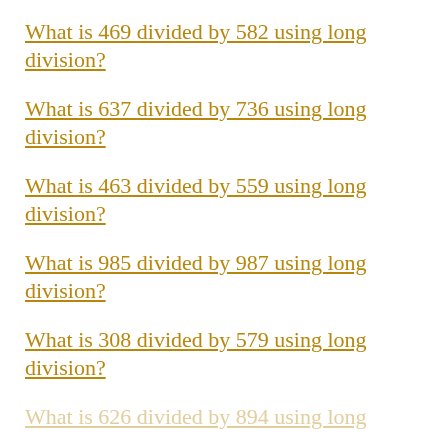What is 469 divided by 582 using long division?
What is 637 divided by 736 using long division?
What is 463 divided by 559 using long division?
What is 985 divided by 987 using long division?
What is 308 divided by 579 using long division?
What is 626 divided by 894 using long division?